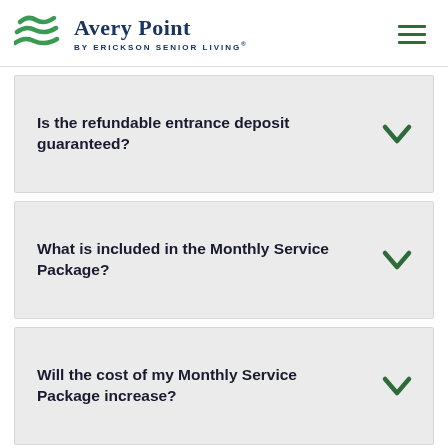Avery Point by Erickson Senior Living
Is the refundable entrance deposit guaranteed?
What is included in the Monthly Service Package?
Will the cost of my Monthly Service Package increase?